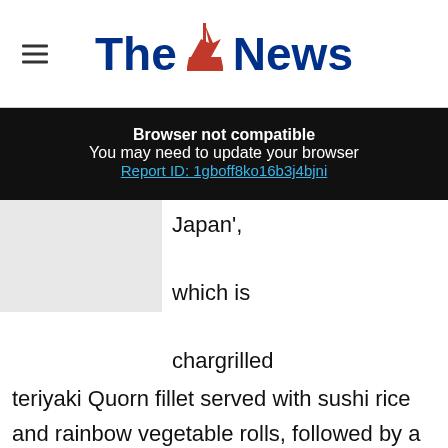The News
Browser not compatible
You may need to update your browser
Report ID: 1gboff8ko16b3j4bjni
Japan', which is chargrilled teriyaki Quorn fillet served with sushi rice and rainbow vegetable rolls, followed by a ‘Matcha Magic’ desert - Japanese green tea Chawanmushi style cream with fresh fruit and shortbread crumbs.